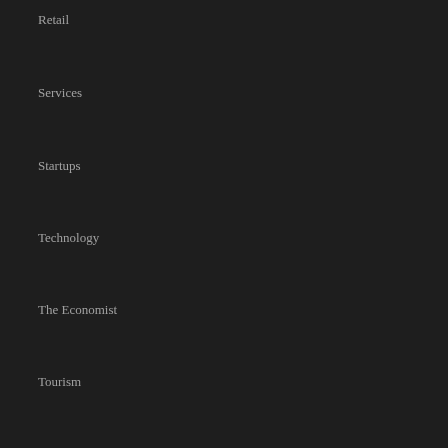Retail
Services
Startups
Technology
The Economist
Tourism
Trade
Transport
Contact
0800 00 22 96
info@businessdesk.co.nz
Terms & Conditions
Privacy Policy
Editorial guidelines and FAQs